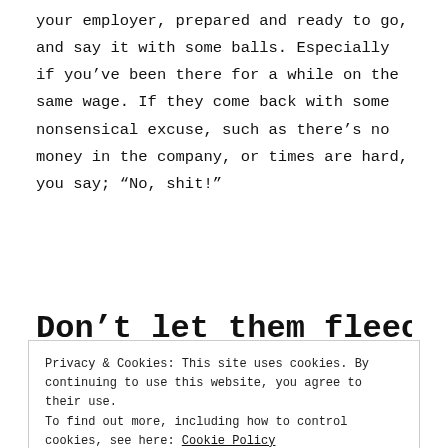your employer, prepared and ready to go, and say it with some balls. Especially if you've been there for a while on the same wage. If they come back with some nonsensical excuse, such as there's no money in the company, or times are hard, you say; “No, shit!”
Don’t let them fleece
Privacy & Cookies: This site uses cookies. By continuing to use this website, you agree to their use. To find out more, including how to control cookies, see here: Cookie Policy
maybe because: